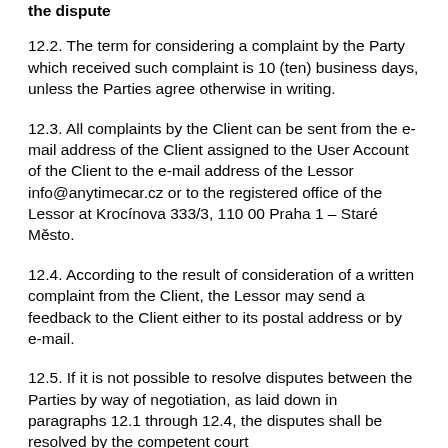the dispute
12.2. The term for considering a complaint by the Party which received such complaint is 10 (ten) business days, unless the Parties agree otherwise in writing.
12.3. All complaints by the Client can be sent from the e-mail address of the Client assigned to the User Account of the Client to the e-mail address of the Lessor info@anytimecar.cz or to the registered office of the Lessor at Krocínova 333/3, 110 00 Praha 1 – Staré Město.
12.4. According to the result of consideration of a written complaint from the Client, the Lessor may send a feedback to the Client either to its postal address or by e-mail.
12.5. If it is not possible to resolve disputes between the Parties by way of negotiation, as laid down in paragraphs 12.1 through 12.4, the disputes shall be resolved by the competent court